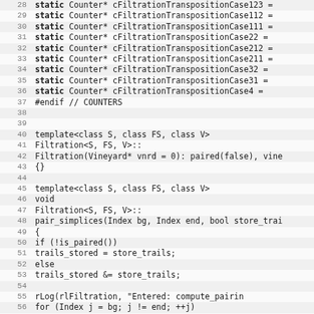[Figure (screenshot): Source code listing showing C++ code for Filtration class, lines 28-60, with line numbers on the left and alternating row shading. Code includes static Counter declarations, template class definitions, constructor, and pair_simplices function implementation.]